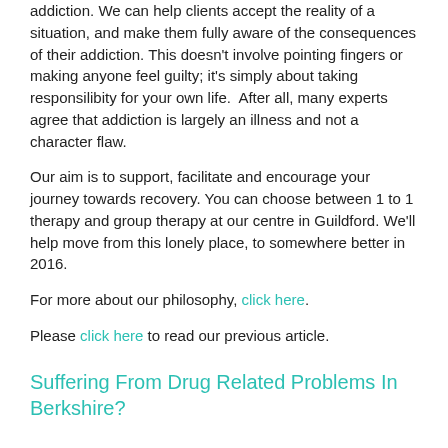addiction. We can help clients accept the reality of a situation, and make them fully aware of the consequences of their addiction. This doesn't involve pointing fingers or making anyone feel guilty; it's simply about taking responsilibity for your own life.  After all, many experts agree that addiction is largely an illness and not a character flaw.
Our aim is to support, facilitate and encourage your journey towards recovery. You can choose between 1 to 1 therapy and group therapy at our centre in Guildford. We'll help move from this lonely place, to somewhere better in 2016.
For more about our philosophy, click here.
Please click here to read our previous article.
Suffering From Drug Related Problems In Berkshire?
Do you require help with drug addiction in Berkshire?
Drug addiction is an extremely complex disease, with